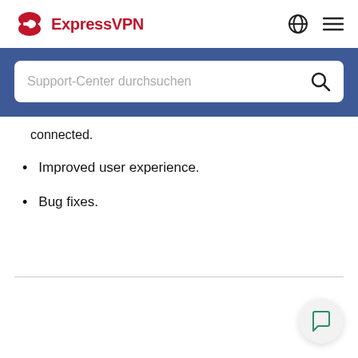ExpressVPN
[Figure (screenshot): Search bar with placeholder text 'Support-Center durchsuchen' on blue background]
connected.
Improved user experience.
Bug fixes.